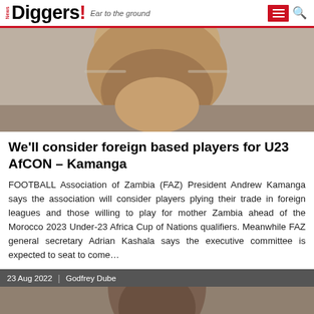News Diggers! Ear to the ground
[Figure (photo): Close-up photo of a man's face (Andrew Kamanga), cropped showing lower face and chin, wearing glasses, against a gray background]
We'll consider foreign based players for U23 AfCON – Kamanga
FOOTBALL Association of Zambia (FAZ) President Andrew Kamanga says the association will consider players plying their trade in foreign leagues and those willing to play for mother Zambia ahead of the Morocco 2023 Under-23 Africa Cup of Nations qualifiers. Meanwhile FAZ general secretary Adrian Kashala says the executive committee is expected to seat to come…
23 Aug 2022  |  Godfrey Dube
[Figure (photo): Close-up photo of a young African athlete looking forward, wearing a yellow jersey, with colorful blurred background]